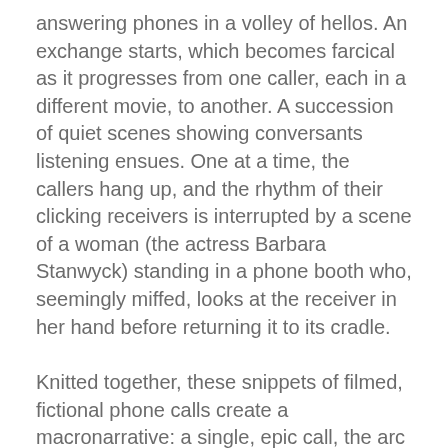answering phones in a volley of hellos. An exchange starts, which becomes farcical as it progresses from one caller, each in a different movie, to another. A succession of quiet scenes showing conversants listening ensues. One at a time, the callers hang up, and the rhythm of their clicking receivers is interrupted by a scene of a woman (the actress Barbara Stanwyck) standing in a phone booth who, seemingly miffed, looks at the receiver in her hand before returning it to its cradle.
Knitted together, these snippets of filmed, fictional phone calls create a macronarrative: a single, epic call, the arc of which mimics that of the so[REDACTED]hat comprise it. In this way the montage inflates the drama of movie phone calls and real life ones, too.